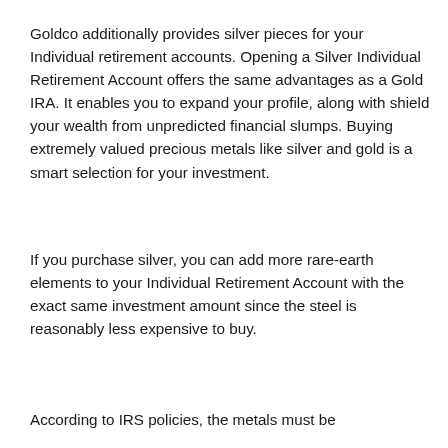Goldco additionally provides silver pieces for your Individual retirement accounts. Opening a Silver Individual Retirement Account offers the same advantages as a Gold IRA. It enables you to expand your profile, along with shield your wealth from unpredicted financial slumps. Buying extremely valued precious metals like silver and gold is a smart selection for your investment.
If you purchase silver, you can add more rare-earth elements to your Individual Retirement Account with the exact same investment amount since the steel is reasonably less expensive to buy.
According to IRS policies, the metals must be...